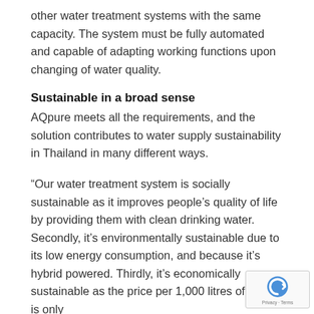other water treatment systems with the same capacity. The system must be fully automated and capable of adapting working functions upon changing of water quality.
Sustainable in a broad sense
AQpure meets all the requirements, and the solution contributes to water supply sustainability in Thailand in many different ways.
“Our water treatment system is socially sustainable as it improves people’s quality of life by providing them with clean drinking water. Secondly, it’s environmentally sustainable due to its low energy consumption, and because it’s hybrid powered. Thirdly, it’s economically sustainable as the price per 1,000 litres of water is only